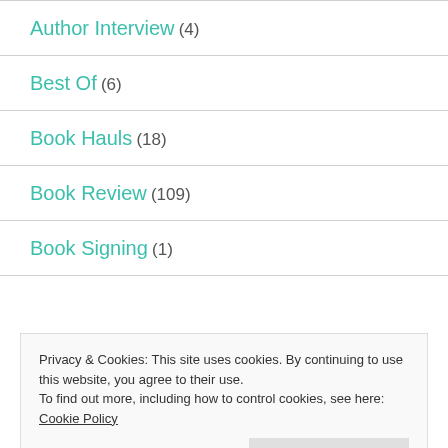Author Interview (4)
Best Of (6)
Book Hauls (18)
Book Review (109)
Book Signing (1)
Privacy & Cookies: This site uses cookies. By continuing to use this website, you agree to their use.
To find out more, including how to control cookies, see here: Cookie Policy
Fall Book Tag (1)